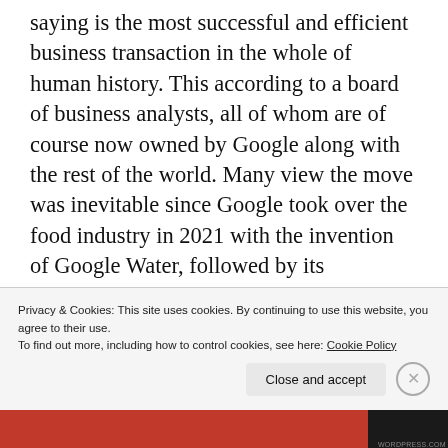saying is the most successful and efficient business transaction in the whole of human history. This according to a board of business analysts, all of whom are of course now owned by Google along with the rest of the world. Many view the move was inevitable since Google took over the food industry in 2021 with the invention of Google Water, followed by its monopoly on the both the energy and medical industry after the success of Google Oil and Google Compliancy, respectively. Additionally,
Privacy & Cookies: This site uses cookies. By continuing to use this website, you agree to their use.
To find out more, including how to control cookies, see here: Cookie Policy
[Figure (photo): Red and dark banner image at the bottom of the page, partially obscured by cookie banner]